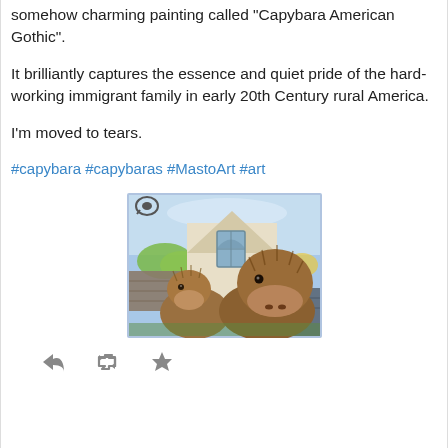somehow charming painting called "Capybara American Gothic".
It brilliantly captures the essence and quiet pride of the hard-working immigrant family in early 20th Century rural America.
I'm moved to tears.
#capybara #capybaras #MastoArt #art
[Figure (illustration): Watercolor painting of two capybaras posed in front of a Gothic-style house, mimicking the American Gothic painting. A small eye-like logo appears in the top-left corner of the image.]